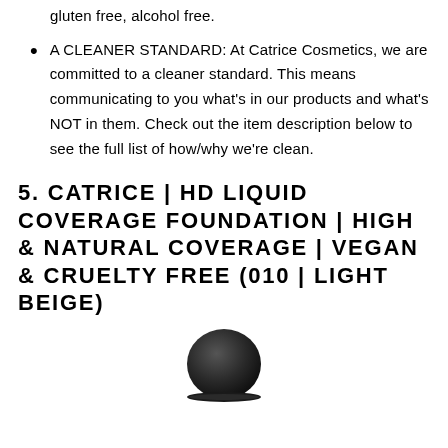gluten free, alcohol free.
A CLEANER STANDARD: At Catrice Cosmetics, we are committed to a cleaner standard. This means communicating to you what's in our products and what's NOT in them. Check out the item description below to see the full list of how/why we're clean.
5. CATRICE | HD LIQUID COVERAGE FOUNDATION | HIGH & NATURAL COVERAGE | VEGAN & CRUELTY FREE (010 | LIGHT BEIGE)
[Figure (photo): Bottom portion of a dark grey/black cosmetic foundation bottle cap/dropper, shown from below, centered on white background.]